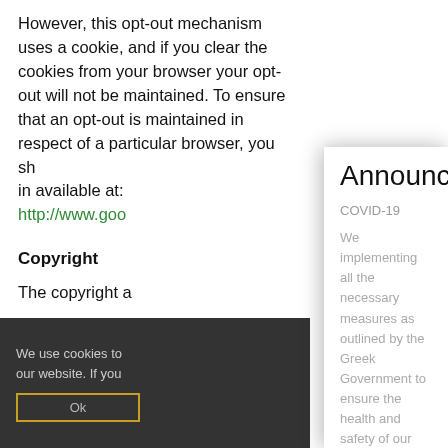However, this opt-out mechanism uses a cookie, and if you clear the cookies from your browser your opt-out will not be maintained. To ensure that an opt-out is maintained in respect of a particular browser, you sh[ould keep the opt-] in available at: http://www.goo[gle...]
Copyright
The copyright a[nd all other...]
We use cookies to [...] our website. If you [...]
Announcement
COVID-19
We implementing all the necessary measures as outlined by the Greek Government to ensure the health and safety of our guests.
—
[Figure (logo): European Union / European Regional Development Fund logo and ESPA 2014-2020 logo]